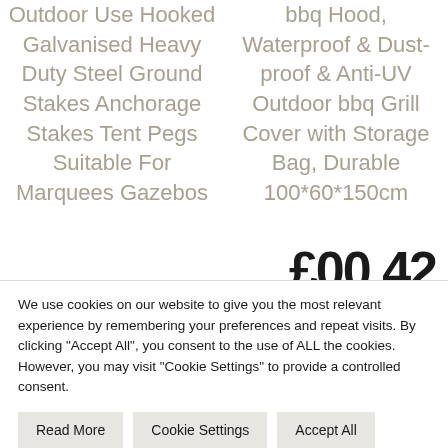Outdoor Use Hooked Galvanised Heavy Duty Steel Ground Stakes Anchorage Stakes Tent Pegs Suitable For Marquees Gazebos
bbq Hood, Waterproof & Dust-proof & Anti-UV Outdoor bbq Grill Cover with Storage Bag, Durable 100*60*150cm
We use cookies on our website to give you the most relevant experience by remembering your preferences and repeat visits. By clicking "Accept All", you consent to the use of ALL the cookies. However, you may visit "Cookie Settings" to provide a controlled consent.
Read More
Cookie Settings
Accept All